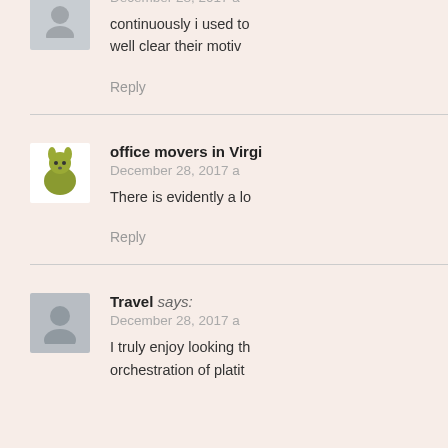December 28, 2017 a
continuously i used to
well clear their motiv
Reply
office movers in Virgi
December 28, 2017 a
There is evidently a lo
Reply
Travel says:
December 28, 2017 a
I truly enjoy looking th
orchestration of platit